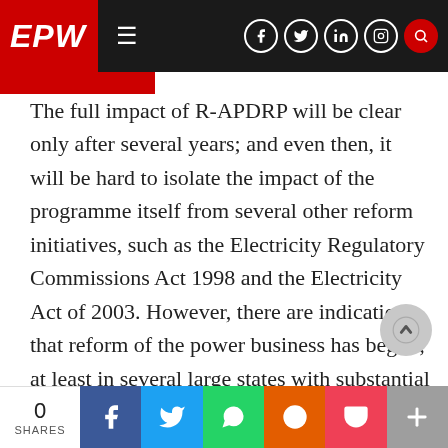EPW navigation bar with logo and social icons
The full impact of R-APDRP will be clear only after several years; and even then, it will be hard to isolate the impact of the programme itself from several other reform initiatives, such as the Electricity Regulatory Commissions Act 1998 and the Electricity Act of 2003. However, there are indications that reform of the power business has begun, at least in several large states with substantial power economies. Thirteen states have corporatised their state electricity boards (SEBs) and unbundled generation, transmission and distribution. Twenty states have created
0 SHARES | Facebook | Twitter | WhatsApp | Reddit | Pocket | +